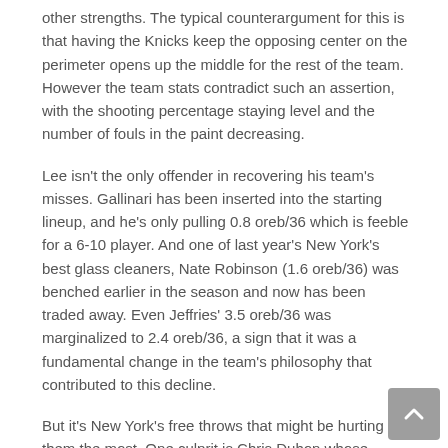other strengths. The typical counterargument for this is that having the Knicks keep the opposing center on the perimeter opens up the middle for the rest of the team. However the team stats contradict such an assertion, with the shooting percentage staying level and the number of fouls in the paint decreasing.
Lee isn't the only offender in recovering his team's misses. Gallinari has been inserted into the starting lineup, and he's only pulling 0.8 oreb/36 which is feeble for a 6-10 player. And one of last year's New York's best glass cleaners, Nate Robinson (1.6 oreb/36) was benched earlier in the season and now has been traded away. Even Jeffries' 3.5 oreb/36 was marginalized to 2.4 oreb/36, a sign that it was a fundamental change in the team's philosophy that contributed to this decline.
But it's New York's free throws that might be hurting them the most. One culprit is Chris Duhon whose production has dipped from 2.6 fta/36 to a pitiful 1.7